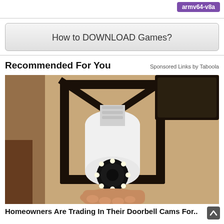armv64-v8a
How to DOWNLOAD Games?
Recommended For You
Sponsored Links by Taboola
[Figure (photo): A security camera shaped like a light bulb installed in an outdoor wall lantern fixture mounted on a textured stucco wall. A hand is seen holding/installing the device. The camera has a white bulb body with a circular camera lens and LED ring at the bottom.]
Homeowners Are Trading In Their Doorbell Cams For..